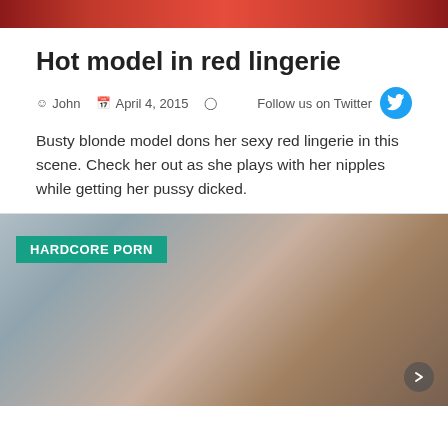[Figure (photo): Top banner image strip showing partial red/colorful image]
Hot model in red lingerie
John   April 4, 2015   Follow us on Twitter
Busty blonde model dons her sexy red lingerie in this scene. Check her out as she plays with her nipples while getting her pussy dicked.
[Figure (photo): HARDCORE PORN labeled card with photograph of explicit sexual content outdoors near a pink vehicle]